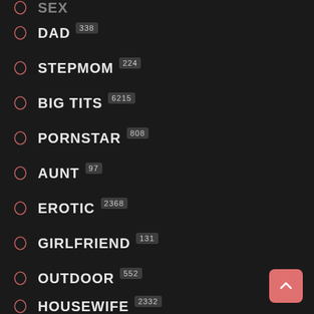SEX (partially visible at top)
DAD 338
STEPMOM 224
BIG TITS 6215
PORNSTAR 808
AUNT 97
EROTIC 2368
GIRLFRIEND 131
OUTDOOR 552
HOUSEWIFE 2332 (partially visible at bottom)